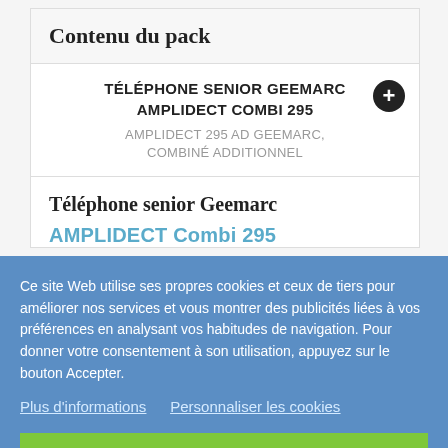Contenu du pack
TÉLÉPHONE SENIOR GEEMARC AMPLIDECT COMBI 295
AMPLIDECT 295 AD GEEMARC, COMBINÉ ADDITIONNEL
Téléphone senior Geemarc
AMPLIDECT Combi 295
Ce site Web utilise ses propres cookies et ceux de tiers pour améliorer nos services et vous montrer des publicités liées à vos préférences en analysant vos habitudes de navigation. Pour donner votre consentement à son utilisation, appuyez sur le bouton Accepter.
Plus d'informations
Personnaliser les cookies
REJETER TOUT
J'ACCEPTE